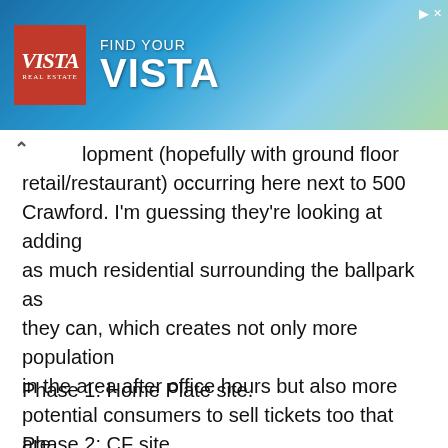[Figure (photo): Advertisement banner for Vista Real Estate with 'Find Your Vista' tagline, showing a coastal/beach aerial scene with blue water and palm trees. Has a red logo box with 'Vista' branding on the left.]
lopment (hopefully with ground floor retail/restaurant) occurring here next to 500 Crawford. I'm guessing they're looking at adding as much residential surrounding the ballpark as they can, which creates not only more population in the area after office hours but also more potential consumers to sell tickets too that are more likely to attend games being located steps away from the ballpark. Considering the situation, I'd say the phases of ballpark development could go like this:
Phase 1: Home Plate site.
Phase 2: CF site.